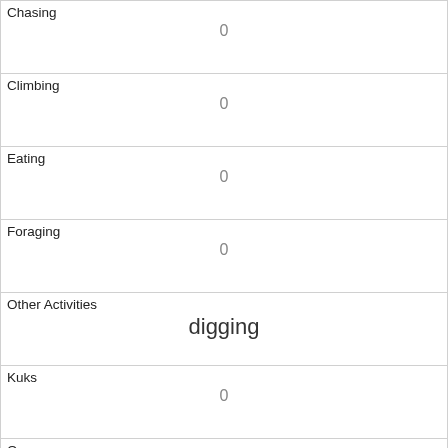| Chasing | 0 |
| Climbing | 0 |
| Eating | 0 |
| Foraging | 0 |
| Other Activities | digging |
| Kuks | 0 |
| Quaas | 0 |
| Moans | 0 |
| Tail flags | 0 |
| Tail twitches | 0 |
| Approaches |  |